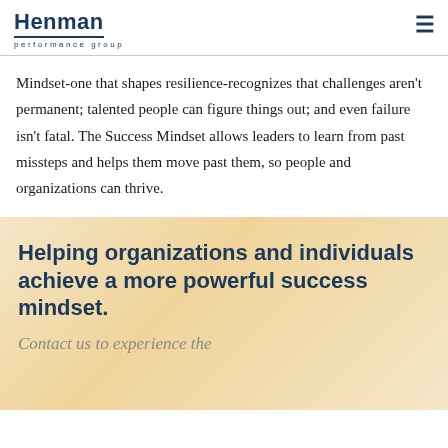Henman performance group
Mindset-one that shapes resilience-recognizes that challenges aren’t permanent; talented people can figure things out; and even failure isn’t fatal. The Success Mindset allows leaders to learn from past missteps and helps them move past them, so people and organizations can thrive.
Helping organizations and individuals achieve a more powerful success mindset.
Contact us to experience the